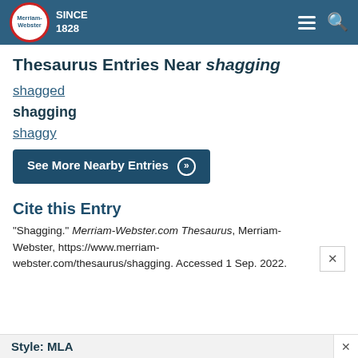Merriam-Webster SINCE 1828
Thesaurus Entries Near shagging
shagged
shagging
shaggy
See More Nearby Entries »
Cite this Entry
"Shagging." Merriam-Webster.com Thesaurus, Merriam-Webster, https://www.merriam-webster.com/thesaurus/shagging. Accessed 1 Sep. 2022.
Style: MLA